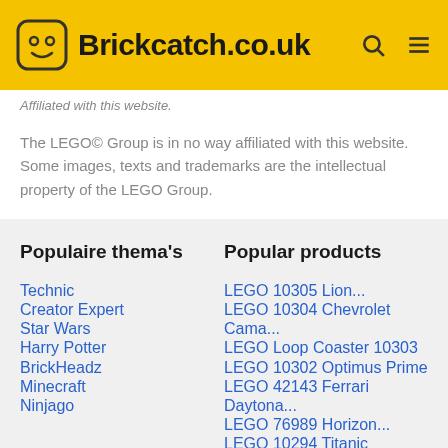Brickcatch.co.uk
Affiliated with this website.
The LEGO© Group is in no way affiliated with this website. Some images, texts and trademarks are the intellectual property of the LEGO Group.
Populaire thema's
Technic
Creator Expert
Star Wars
Harry Potter
BrickHeadz
Minecraft
Ninjago
Popular products
LEGO 10305 Lion...
LEGO 10304 Chevrolet Cama...
LEGO Loop Coaster 10303
LEGO 10302 Optimus Prime
LEGO 42143 Ferrari Daytona...
LEGO 76989 Horizon...
LEGO 10294 Titanic